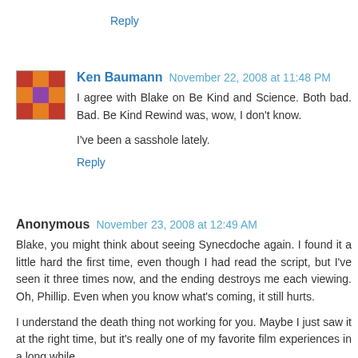Reply
Ken Baumann  November 22, 2008 at 11:48 PM
I agree with Blake on Be Kind and Science. Both bad. Bad. Be Kind Rewind was, wow, I don't know.

I've been a sasshole lately.
Reply
Anonymous  November 23, 2008 at 12:49 AM
Blake, you might think about seeing Synecdoche again. I found it a little hard the first time, even though I had read the script, but I've seen it three times now, and the ending destroys me each viewing. Oh, Phillip. Even when you know what's coming, it still hurts.

I understand the death thing not working for you. Maybe I just saw it at the right time, but it's really one of my favorite film experiences in a long while.